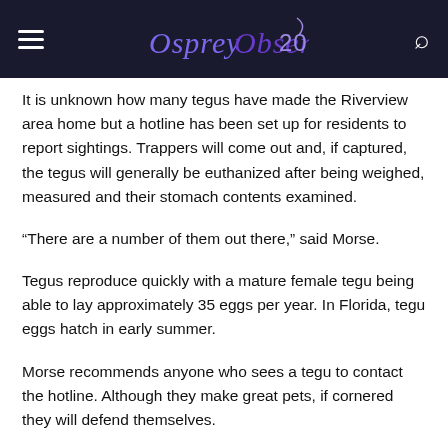Osprey Observer 20
It is unknown how many tegus have made the Riverview area home but a hotline has been set up for residents to report sightings. Trappers will come out and, if captured, the tegus will generally be euthanized after being weighed, measured and their stomach contents examined.
“There are a number of them out there,” said Morse.
Tegus reproduce quickly with a mature female tegu being able to lay approximately 35 eggs per year. In Florida, tegu eggs hatch in early summer.
Morse recommends anyone who sees a tegu to contact the hotline. Although they make great pets, if cornered they will defend themselves.